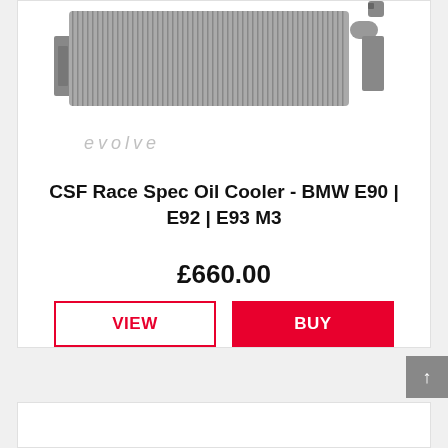[Figure (photo): Product photo of CSF Race Spec Oil Cooler with aluminum fins and mounting brackets, viewed from above at an angle. Below the product photo is a faint watermark logo reading 'evolve'.]
CSF Race Spec Oil Cooler - BMW E90 | E92 | E93 M3
£660.00
VIEW
BUY